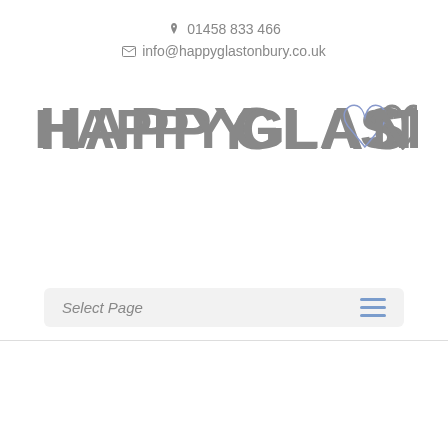01458 833 466  info@happyglastonbury.co.uk
[Figure (logo): Happy Glastonbury logo in large grey lettering with a blue heart replacing the letter O in Glastonbury]
Select Page